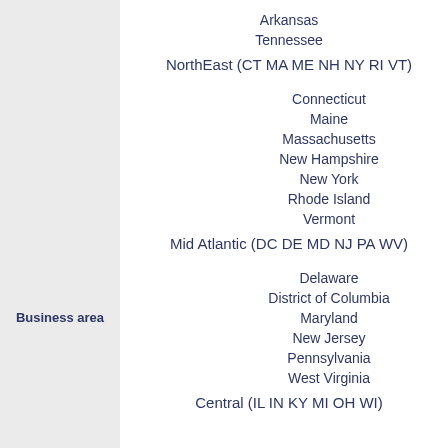Arkansas
Tennessee
NorthEast (CT MA ME NH NY RI VT)
Connecticut
Maine
Massachusetts
New Hampshire
New York
Rhode Island
Vermont
Mid Atlantic (DC DE MD NJ PA WV)
Business area
Delaware
District of Columbia
Maryland
New Jersey
Pennsylvania
West Virginia
Central (IL IN KY MI OH WI)